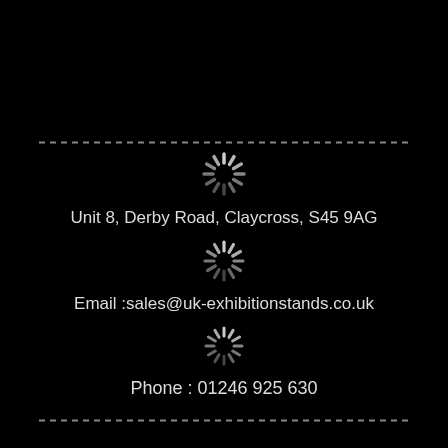[Figure (other): Dashed horizontal separator line at top]
[Figure (illustration): Loading spinner / asterisk decorative icon]
Unit 8, Derby Road, Claycross, S45 9AG
[Figure (illustration): Loading spinner / asterisk decorative icon]
Email :sales@uk-exhibitionstands.co.uk
[Figure (illustration): Loading spinner / asterisk decorative icon]
Phone : 01246 925 630
[Figure (illustration): Loading spinner / asterisk decorative icon]
Facebook
[Figure (other): Dashed horizontal separator line at bottom]